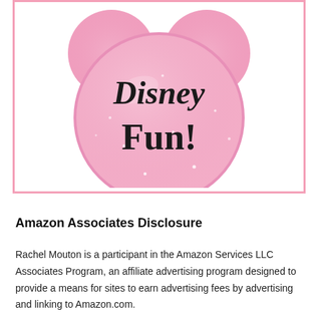[Figure (logo): Pink Minnie Mouse ears silhouette logo with sparkly pink glitter texture. Text 'Disney Fun!' written in black decorative font inside the main circle ear shape. Surrounded by a pink border rectangle.]
Amazon Associates Disclosure
Rachel Mouton is a participant in the Amazon Services LLC Associates Program, an affiliate advertising program designed to provide a means for sites to earn advertising fees by advertising and linking to Amazon.com.